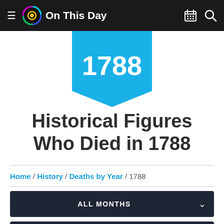On This Day
[Figure (illustration): Blue bookmark/badge shape with the year 1788 in large white bold text]
Historical Figures Who Died in 1788
Home / History / Deaths by Year / 1788
ALL MONTHS
DEATHS
Jan 11 Francois Joseph Paul de Grasse, French admiral